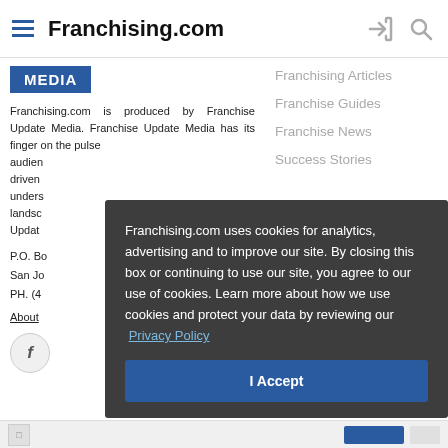Franchising.com
[Figure (screenshot): Website screenshot showing Franchising.com header with hamburger menu, site title, login and search icons]
MEDIA
Franchising.com is produced by Franchise Update Media. Franchise Update Media has its finger on the pulse of the franchising audience. Data driven content and understanding the landscape, Franchise Update...
P.O. Bo...
San Jo...
PH. (4...
About...
Franchising Articles
Franchise Guides
Franchise News
Success Stories
Franchising.com uses cookies for analytics, advertising and to improve our site. By closing this box or continuing to use our site, you agree to our use of cookies. Learn more about how we use cookies and protect your data by reviewing our Privacy Policy
I Accept